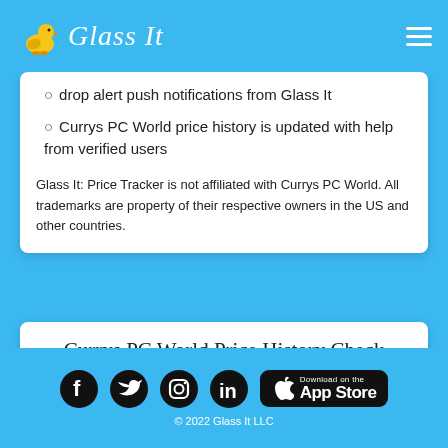Glass It
drop alert push notifications from Glass It
Currys PC World price history is updated with help from verified users
Glass It: Price Tracker is not affiliated with Currys PC World. All trademarks are property of their respective owners in the US and other countries.
Currys PC World Price History Check
Getting the best Currys PC World deals starts with information!
Enter product's webpage url
© 2022 Glass It LLC